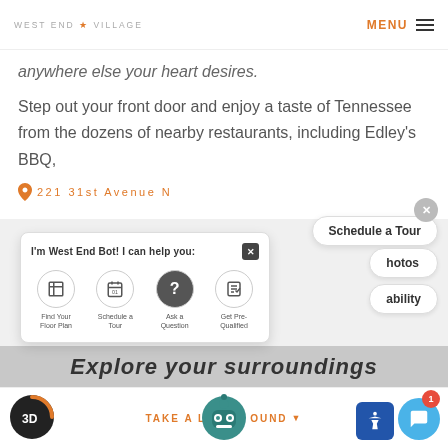WEST END ★ VILLAGE  MENU
anywhere else your heart desires.
Step out your front door and enjoy a taste of Tennessee from the dozens of nearby restaurants, including Edley's BBQ,
📍 221 31st Avenue N
[Figure (screenshot): Chatbot popup with message 'I'm West End Bot! I can help you:' and four action icons: Find Your Floor Plan, Schedule a Tour, Ask a Question, Get Pre-Qualified]
[Figure (screenshot): Schedule a Tour button (pill shape)]
[Figure (screenshot): Photos and Availability buttons on right side]
Explore your surroundings
3D  TAKE A LOOK AROUND  [Robot icon]  [Chat widget badge: 1]